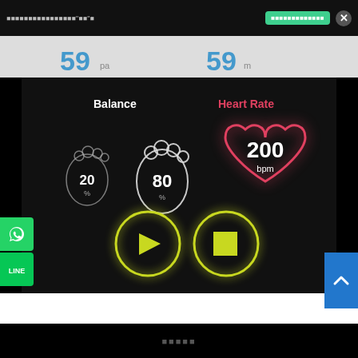Thai text header with "00"3 | Thai button text | X
59 pa
59 m
[Figure (screenshot): Dark fitness/health monitoring interface showing Balance section with two footprint icons labeled 20% and 80%, Heart Rate section with heart icon showing 200 bpm, and play/stop buttons at bottom]
Thai footer text (dots)